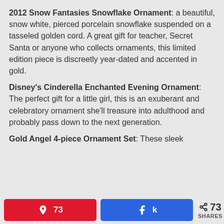2012 Snow Fantasies Snowflake Ornament: a beautiful, snow white, pierced porcelain snowflake suspended on a tasseled golden cord. A great gift for teacher, Secret Santa or anyone who collects ornaments, this limited edition piece is discreetly year-dated and accented in gold.
Disney's Cinderella Enchanted Evening Ornament: The perfect gift for a little girl, this is an exuberant and celebratory ornament she'll treasure into adulthood and probably pass down to the next generation.
Gold Angel 4-piece Ornament Set: These sleek